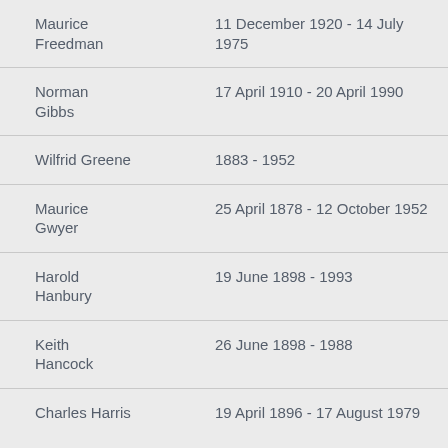| Name | Dates |
| --- | --- |
| Maurice Freedman | 11 December 1920 - 14 July 1975 |
| Norman Gibbs | 17 April 1910 - 20 April 1990 |
| Wilfrid Greene | 1883 - 1952 |
| Maurice Gwyer | 25 April 1878 - 12 October 1952 |
| Harold Hanbury | 19 June 1898 - 1993 |
| Keith Hancock | 26 June 1898 - 1988 |
| Charles Harris | 19 April 1896 - 17 August 1979 |